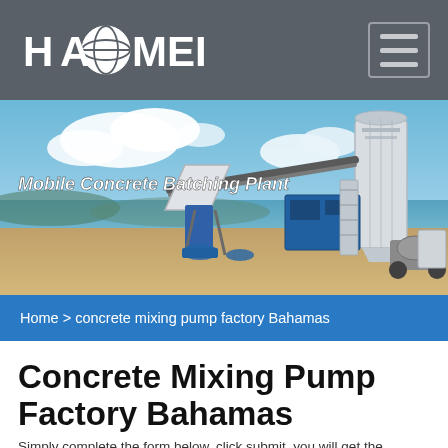HAOMEI (logo) | hamburger menu
[Figure (photo): Mobile Concrete Batching Plant – outdoor photo showing large industrial concrete batching equipment with silos, conveyor belts, and mixer trucks on a sandy beach area with blue sky and clouds in the background. Text overlay reads 'Mobile Concrete Batching Plant'.]
Home > concrete mixing pump factory Bahamas
Concrete Mixing Pump Factory Bahamas
Simply complete the form below, click submit, you will get the